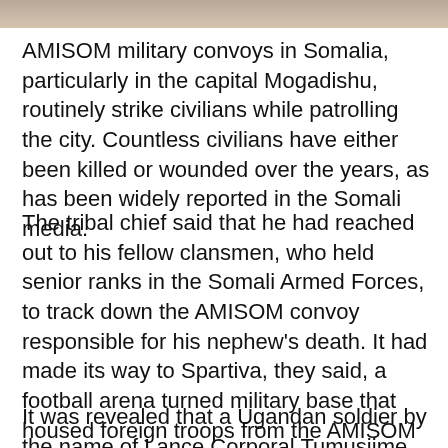[Figure (photo): Partial image of a person visible at the very top of the page, cropped]
AMISOM military convoys in Somalia, particularly in the capital Mogadishu, routinely strike civilians while patrolling the city. Countless civilians have either been killed or wounded over the years, as has been widely reported in the Somali media.
The tribal chief said that he had reached out to his fellow clansmen, who held senior ranks in the Somali Armed Forces, to track down the AMISOM convoy responsible for his nephew's death. It had made its way to Spartiva, they said, a football arena turned military base that housed foreign troops from the AMISOM coalition, but primarily from Uganda.
It was revealed that a Ugandan soldier by the name of Lance Corporal Tumusiime Robert was behind the